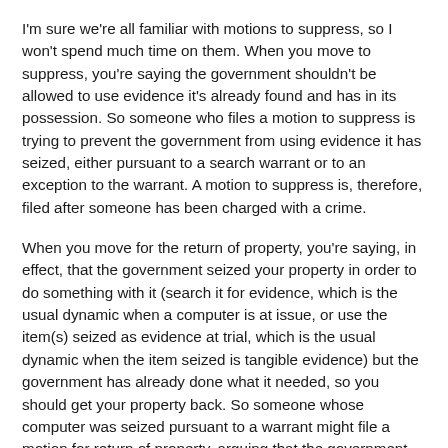I'm sure we're all familiar with motions to suppress, so I won't spend much time on them. When you move to suppress, you're saying the government shouldn't be allowed to use evidence it's already found and has in its possession. So someone who files a motion to suppress is trying to prevent the government from using evidence it has seized, either pursuant to a search warrant or to an exception to the warrant. A motion to suppress is, therefore, filed after someone has been charged with a crime.
When you move for the return of property, you're saying, in effect, that the government seized your property in order to do something with it (search it for evidence, which is the usual dynamic when a computer is at issue, or use the item(s) seized as evidence at trial, which is the usual dynamic when the item seized is tangible evidence) but the government has already done what it needed, so you should get your property back. So someone whose computer was seized pursuant to a warrant might file a motion for return of property, arguing that the government has searched the computer (maybe made a mirror image of its hard drive) and therefore has no further need for it. In one case, a defendant